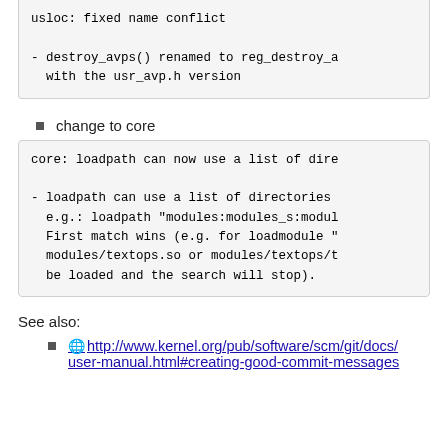usloc: fixed name conflict

- destroy_avps() renamed to reg_destroy_avps() to avoid conflict
  with the usr_avp.h version
change to core
core: loadpath can now use a list of directories

- loadpath can use a list of directories separated by ':'
  e.g.: loadpath "modules:modules_s:modules_t"
  First match wins (e.g. for loadmodule "textops" either
  modules/textops.so or modules/textops/textops.so will
  be loaded and the search will stop).
See also:
http://www.kernel.org/pub/software/scm/git/docs/user-manual.html#creating-good-commit-messages